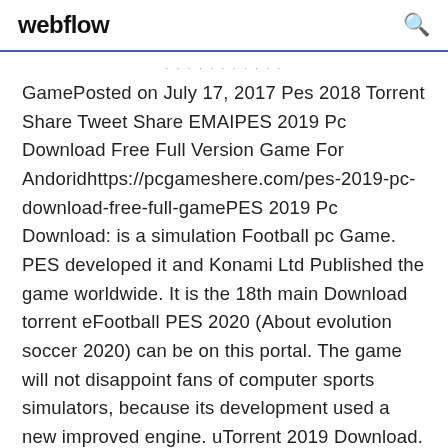webflow
GamePosted on July 17, 2017 Pes 2018 Torrent Share Tweet Share EMAIPES 2019 Pc Download Free Full Version Game For Andoridhttps://pcgameshere.com/pes-2019-pc-download-free-full-gamePES 2019 Pc Download: is a simulation Football pc Game. PES developed it and Konami Ltd Published the game worldwide. It is the 18th main Download torrent eFootball PES 2020 (About evolution soccer 2020) can be on this portal. The game will not disappoint fans of computer sports simulators, because its development used a new improved engine. uTorrent 2019 Download. utorrent windows 10 64 bit 2019,utorrent x64